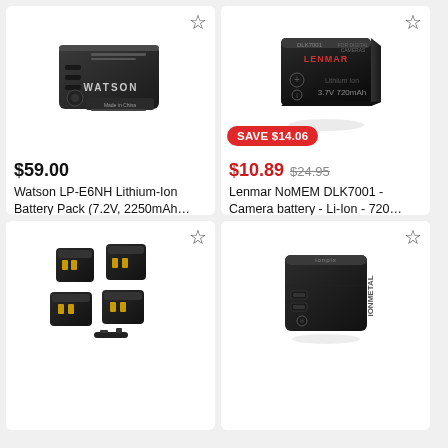[Figure (photo): Watson LP-E6NH rechargeable lithium-ion battery pack, dark gray color]
$59.00
Watson LP-E6NH Lithium-Ion Battery Pack (7.2V, 2250mAh...
B&H Photo Video
[Figure (photo): Lenmar NoMEM DLK7001 camera battery, black rectangular battery with Lenmar logo, 3.7V 720mAh]
SAVE $14.06
$10.89 $24.95
Lenmar NoMEM DLK7001 - Camera battery - Li-Ion - 720...
Walmart
[Figure (photo): Multiple small black camera battery adapters/plates arranged on white background]
[Figure (photo): IonMetal portable power bank, black rectangular box with USB ports]